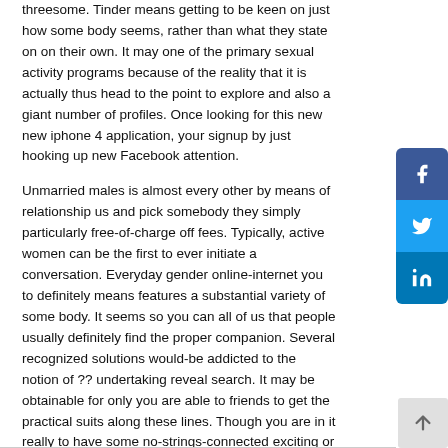threesome. Tinder means getting to be keen on just how some body seems, rather than what they state on on their own. It may one of the primary sexual activity programs because of the reality that it is actually thus head to the point to explore and also a giant number of profiles. Once looking for this new new iphone 4 application, your signup by just hooking up new Facebook attention.
Unmarried males is almost every other by means of relationship us and pick somebody they simply particularly free-of-charge off fees. Typically, active women can be the first to ever initiate a conversation. Everyday gender online-internet you to definitely means features a substantial variety of some body. It seems so you can all of us that people usually definitely find the proper companion. Several recognized solutions would-be addicted to the notion of ?? undertaking reveal search. It may be obtainable for only you are able to friends to get the practical suits along these lines. Though you are in it really to have some no-strings-connected exciting or to fulfill an associate for long-label matchmaking, we've got only the hitch to you.